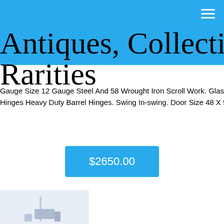Antiques, Collectibles, and Rarities
Gauge Size 12 Gauge Steel And 58 Wrought Iron Scroll Work. Glass Panel Opens For Easy Cleaning And Ventilation. Hinges Heavy Duty Barrel Hinges. Swing In-swing. Door Size 48 X 96.
$2650.00
[Figure (photo): Partial product image at bottom left of page]